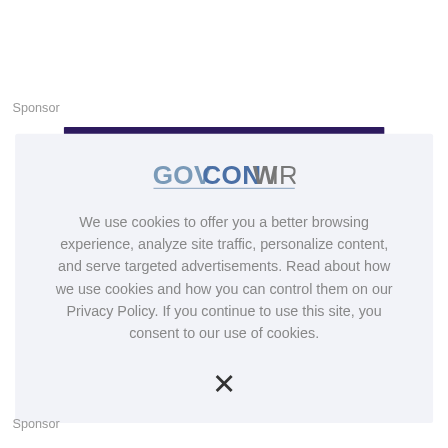Sponsor
[Figure (logo): GovConWire logo with blue and gray lettering and underline]
We use cookies to offer you a better browsing experience, analyze site traffic, personalize content, and serve targeted advertisements. Read about how we use cookies and how you can control them on our Privacy Policy. If you continue to use this site, you consent to our use of cookies.
X
Sponsor